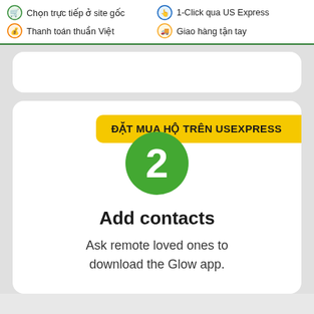Chọn trực tiếp ở site gốc | Thanh toán thuần Việt | 1-Click qua US Express | Giao hàng tận tay
[Figure (screenshot): Partially visible white card at top of gray area]
ĐẶT MUA HỘ TRÊN USEXPRESS
[Figure (infographic): Green circle with number 2 representing step 2]
Add contacts
Ask remote loved ones to download the Glow app.